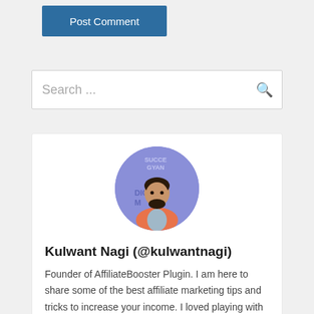Post Comment
Search ...
[Figure (photo): Circular avatar photo of Kulwant Nagi, a man in a pink blazer, standing in front of a banner showing 'SUCCE GYAN' and 'DIG M']
Kulwant Nagi (@kulwantnagi)
Founder of AffiliateBooster Plugin. I am here to share some of the best affiliate marketing tips and tricks to increase your income. I loved playing with new tools so here I list some of the best tools to